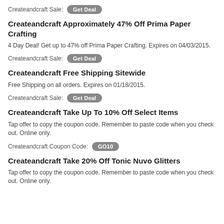Createandcraft Sale: Get Deal
Createandcraft Approximately 47% Off Prima Paper Crafting
4 Day Deal! Get up to 47% off Prima Paper Crafting. Expires on 04/03/2015.
Createandcraft Sale: Get Deal
Createandcraft Free Shipping Sitewide
Free Shipping on all orders. Expires on 01/18/2015.
Createandcraft Sale: Get Deal
Createandcraft Take Up To 10% Off Select Items
Tap offer to copy the coupon code. Remember to paste code when you check out. Online only.
Createandcraft Coupon Code: GO10
Createandcraft Take 20% Off Tonic Nuvo Glitters
Tap offer to copy the coupon code. Remember to paste code when you check out. Online only.